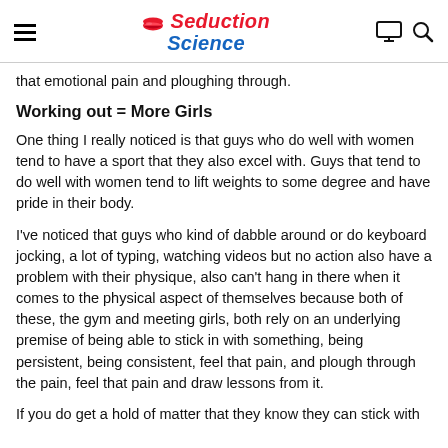Seduction Science
that emotional pain and ploughing through.
Working out = More Girls
One thing I really noticed is that guys who do well with women tend to have a sport that they also excel with. Guys that tend to do well with women tend to lift weights to some degree and have pride in their body.
I've noticed that guys who kind of dabble around or do keyboard jocking, a lot of typing, watching videos but no action also have a problem with their physique, also can't hang in there when it comes to the physical aspect of themselves because both of these, the gym and meeting girls, both rely on an underlying premise of being able to stick in with something, being persistent, being consistent, feel that pain, and plough through the pain, feel that pain and draw lessons from it.
If you do get a hold of matter that they know they can stick with